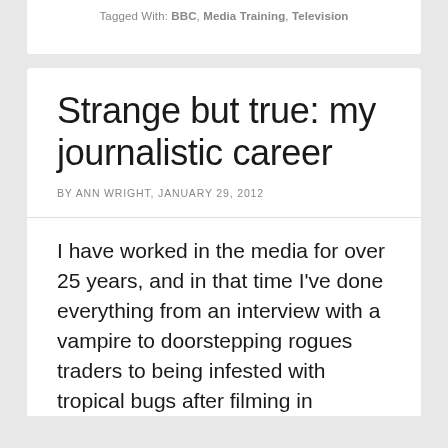Tagged With: BBC, Media Training, Television
Strange but true: my journalistic career
BY ANN WRIGHT, JANUARY 29, 2012
I have worked in the media for over 25 years, and in that time I've done everything from an interview with a vampire to doorstepping rogues traders to being infested with tropical bugs after filming in